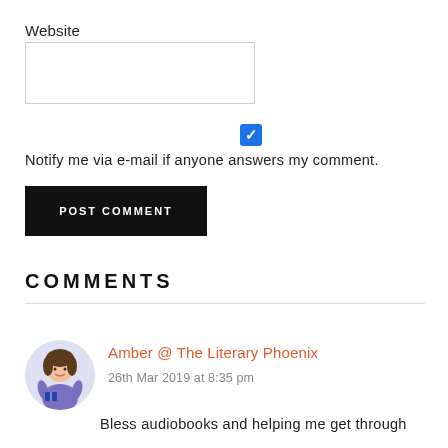Website
[Figure (other): Empty text input field for Website URL]
[Figure (other): Checked blue checkbox]
Notify me via e-mail if anyone answers my comment.
POST COMMENT
COMMENTS
Amber @ The Literary Phoenix
26th Mar 2019 at 8:35 pm
Bless audiobooks and helping me get through